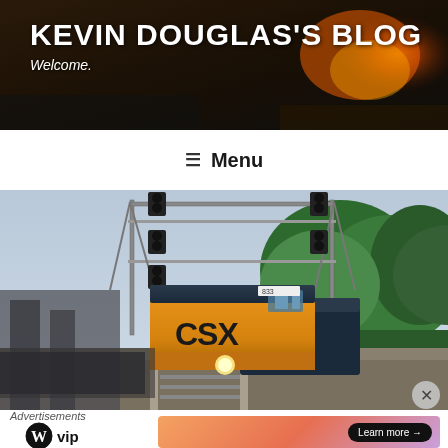KEVIN DOUGLAS'S BLOG
Welcome.
≡  Menu
[Figure (photo): CSX locomotive train approaching under signal gantry, surrounded by green trees on a clear day]
Advertisements
[Figure (logo): WordPress VIP logo with circle W and 'vip' text]
[Figure (other): Advertisement banner with gradient orange/pink background and 'Learn more →' button]